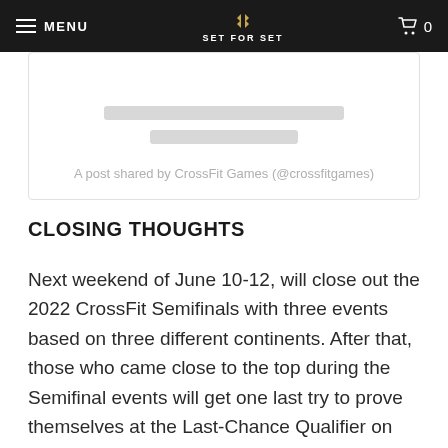MENU | SET FOR SET | 0
[Figure (screenshot): Social media post card with skeleton loading lines and caption 'A post shared by CrossFit Games (@crossfitgames)']
A post shared by CrossFit Games (@crossfitgames)
CLOSING THOUGHTS
Next weekend of June 10-12, will close out the 2022 CrossFit Semifinals with three events based on three different continents. After that, those who came close to the top during the Semifinal events will get one last try to prove themselves at the Last-Chance Qualifier on the weekend of June 29-July 1st.